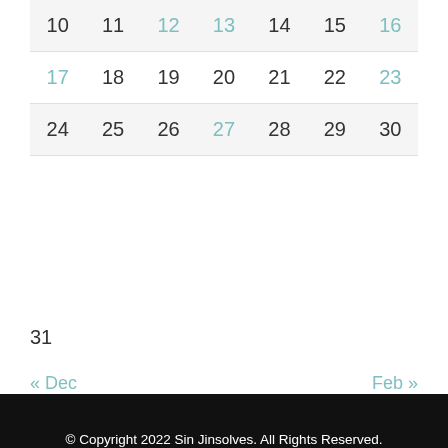| 10 | 11 | 12 | 13 | 14 | 15 | 16 |
| 17 | 18 | 19 | 20 | 21 | 22 | 23 |
| 24 | 25 | 26 | 27 | 28 | 29 | 30 |
31
« Dec    Feb »
© Copyright 2022 Sin Jinsolves. All Rights Reserved. Vilva | Developed By Blossom Themes. Powered by WordPress.